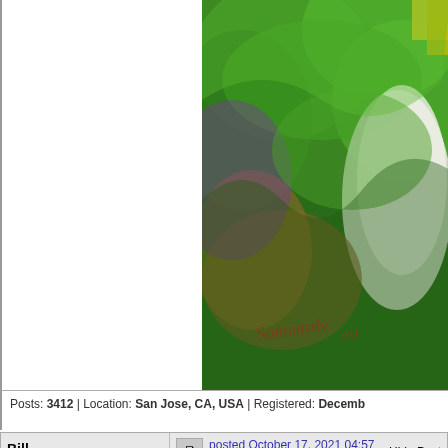[Figure (illustration): Colorful artistic illustration showing a figure with green foliage background, purple and brown hues, with a signature reading 'Sonmardvell' or similar in script text. Image is cropped at top and right.]
Posts: 3412 | Location: San Jose, CA, USA | Registered: Decemb
Bill Mullins
Silver Card Talk Member
posted October 17, 2021 04:57 PM
Hide Post
I'm not able to overrule, so I will only frown on the appearance of a baseball card in this thread. If it had been Bob Fosse . . .
Posts: 1788 | Location: Huntsville, AL United States | Registered: November 30, 2002
Raven
Platinum Card Talk Member
posted October 17, 2021 05:37 PM
Hide Post
quote: